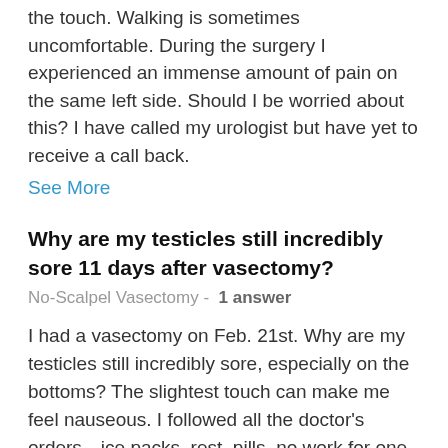There is a mass on my left testicle that is painful to the touch. Walking is sometimes uncomfortable. During the surgery I experienced an immense amount of pain on the same left side. Should I be worried about this? I have called my urologist but have yet to receive a call back.
See More
Why are my testicles still incredibly sore 11 days after vasectomy?
No-Scalpel Vasectomy -  1 answer
I had a vasectomy on Feb. 21st. Why are my testicles still incredibly sore, especially on the bottoms? The slightest touch can make me feel nauseous. I followed all the doctor's orders—ice packs, rest, pills, no work for one week, jockstrap, etc. I don't want to continue taking pills, and they're